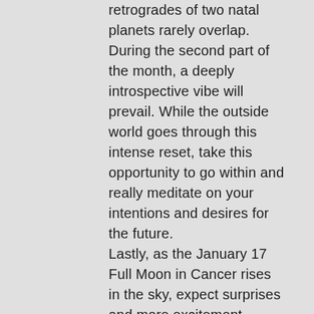retrogrades of two natal planets rarely overlap. During the second part of the month, a deeply introspective vibe will prevail. While the outside world goes through this intense reset, take this opportunity to go within and really meditate on your intentions and desires for the future. Lastly, as the January 17 Full Moon in Cancer rises in the sky, expect surprises and more excitement. Uranus, the Great Awakener, will be going direct just at the onset of Aquarius season. During the last third of the month, going with the flow can not only bring big breakthroughs but also originality and excitement into our lives. Read your horoscope below for your rising as well as your sun sign.